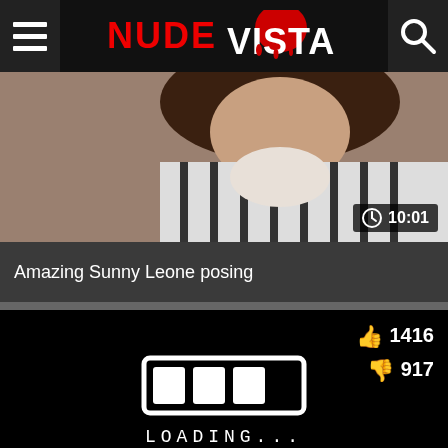NUDE VISTA
[Figure (screenshot): Thumbnail of video showing a person in a striped blazer, with duration badge showing 10:01]
Amazing Sunny Leone posing
[Figure (screenshot): Video player loading screen with loading bar graphic and LOADING... text, like count 1416, dislike count 917, duration 07:57]